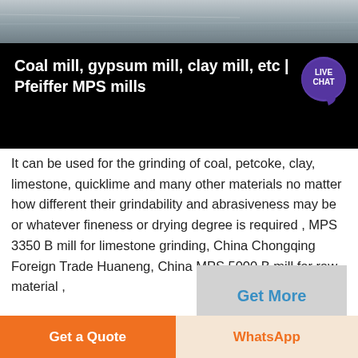[Figure (photo): Top portion of industrial mill equipment, gray metallic surface]
Coal mill, gypsum mill, clay mill, etc | Pfeiffer MPS mills
It can be used for the grinding of coal, petcoke, clay, limestone, quicklime and many other materials no matter how different their grindability and abrasiveness may be or whatever fineness or drying degree is required , MPS 3350 B mill for limestone grinding, China Chongqing Foreign Trade Huaneng, China MPS 5000 B mill for raw material ,
[Figure (photo): Bottom portion showing industrial structural elements, dark metallic]
Get More
Get a Quote
WhatsApp